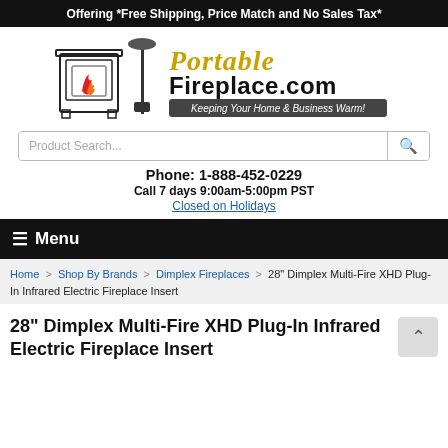Offering *Free Shipping, Price Match and No Sales Tax*
[Figure (logo): PortableFireplace.com logo with fireplace illustration and tagline 'Keeping Your Home & Business Warm!']
Product Search...
Phone: 1-888-452-0229
Call 7 days 9:00am-5:00pm PST
Closed on Holidays
☰ Menu
Home > Shop By Brands > Dimplex Fireplaces > 28" Dimplex Multi-Fire XHD Plug-In Infrared Electric Fireplace Insert
28" Dimplex Multi-Fire XHD Plug-In Infrared Electric Fireplace Insert